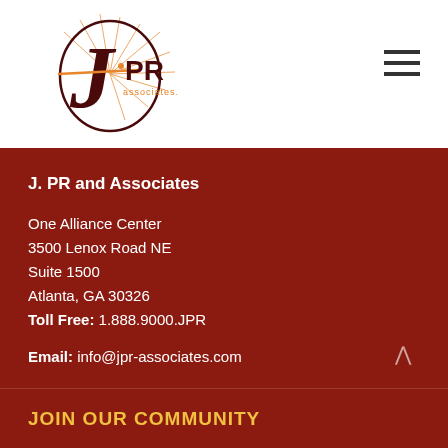[Figure (logo): JPR and Associates logo with stylized J letterform, sunburst lines, and 'associates' text in orange and dark maroon]
J. PR and Associates
One Alliance Center
3500 Lenox Road NE
Suite 1500
Atlanta, GA 30326
Toll Free: 1.888.9000.JPR
Email: info@jpr-associates.com
JOIN OUR COMMUNITY